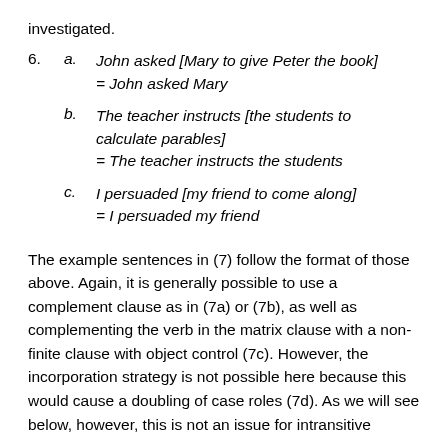investigated.
6. a. John asked [Mary to give Peter the book] = John asked Mary
b. The teacher instructs [the students to calculate parables] = The teacher instructs the students
c. I persuaded [my friend to come along] = I persuaded my friend
The example sentences in (7) follow the format of those above. Again, it is generally possible to use a complement clause as in (7a) or (7b), as well as complementing the verb in the matrix clause with a non-finite clause with object control (7c). However, the incorporation strategy is not possible here because this would cause a doubling of case roles (7d). As we will see below, however, this is not an issue for intransitive